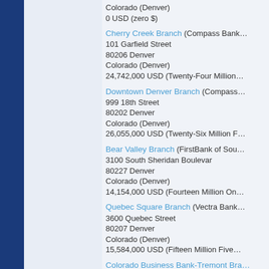Colorado (Denver)
0 USD (zero $)
Cherry Creek Branch (Compass Bank)
101 Garfield Street
80206 Denver
Colorado (Denver)
24,742,000 USD (Twenty-Four Million...
Downtown Denver Branch (Compass...)
999 18th Street
80202 Denver
Colorado (Denver)
26,055,000 USD (Twenty-Six Million F...
Bear Valley Branch (FirstBank of Sou...)
3100 South Sheridan Boulevar
80227 Denver
Colorado (Denver)
14,154,000 USD (Fourteen Million On...
Quebec Square Branch (Vectra Bank...)
3600 Quebec Street
80207 Denver
Colorado (Denver)
15,584,000 USD (Fifteen Million Five...
Colorado Business Bank-Tremont Bra...
1275 Tremont Place
80204 Denver
Colorado (Denver)
8,454,000 USD (Eight Million Four Hu...
Belleview Branch (Citywide Banks)